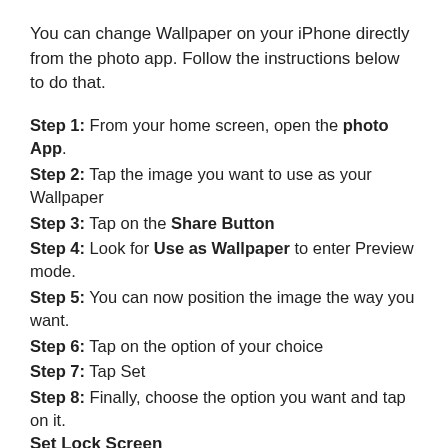You can change Wallpaper on your iPhone directly from the photo app. Follow the instructions below to do that.
Step 1: From your home screen, open the photo App.
Step 2: Tap the image you want to use as your Wallpaper
Step 3: Tap on the Share Button
Step 4: Look for Use as Wallpaper to enter Preview mode.
Step 5: You can now position the image the way you want.
Step 6: Tap on the option of your choice
Step 7: Tap Set
Step 8: Finally, choose the option you want and tap on it.
Set Lock Screen